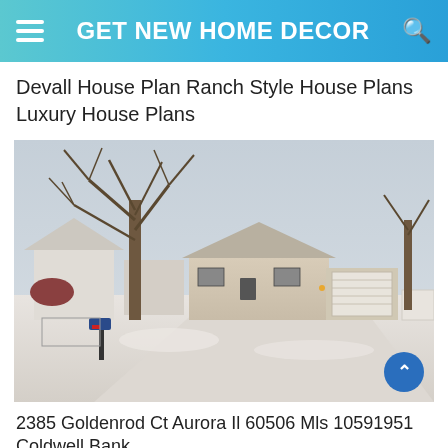GET NEW HOME DECOR
Devall House Plan Ranch Style House Plans Luxury House Plans
[Figure (photo): Exterior photo of a ranch-style house in winter with snow on the ground, bare trees in front, a garage, mailbox in foreground, and a white fence on the right side.]
2385 Goldenrod Ct Aurora Il 60506 Mls 10591951 Coldwell Bank...